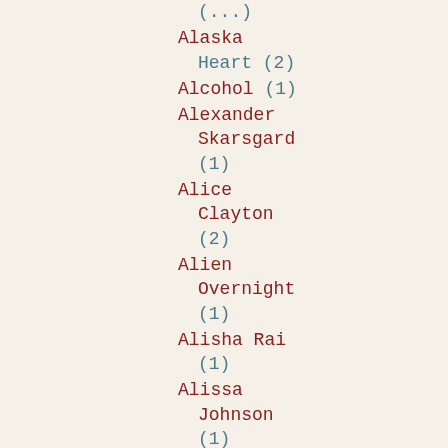(...)
Alaska
  Heart (2)
Alcohol (1)
Alexander
  Skarsgard
  (1)
Alice
  Clayton
  (2)
Alien
  Overnight
  (1)
Alisha Rai
  (1)
Alissa
  Johnson
  (1)